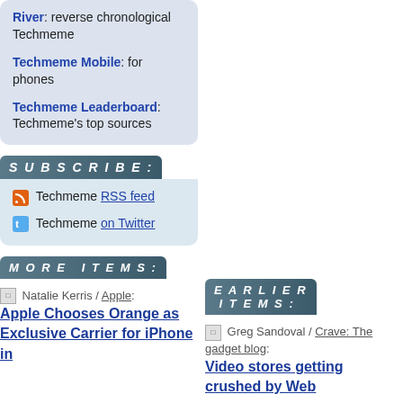River: reverse chronological Techmeme
Techmeme Mobile: for phones
Techmeme Leaderboard: Techmeme's top sources
SUBSCRIBE:
Techmeme RSS feed
Techmeme on Twitter
MORE ITEMS:
Natalie Kerris / Apple: Apple Chooses Orange as Exclusive Carrier for iPhone in
EARLIER ITEMS:
Greg Sandoval / Crave: The gadget blog: Video stores getting crushed by Web